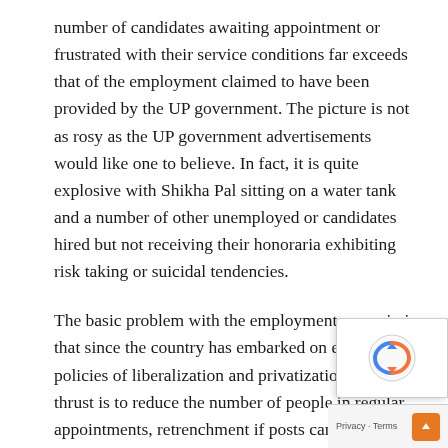number of candidates awaiting appointment or frustrated with their service conditions far exceeds that of the employment claimed to have been provided by the UP government. The picture is not as rosy as the UP government advertisements would like one to believe. In fact, it is quite explosive with Shikha Pal sitting on a water tank and a number of other unemployed or candidates hired but not receiving their honoraria exhibiting risk taking or suicidal tendencies.
The basic problem with the employment scenario is that since the country has embarked on economic policies of liberalization and privatization, the thrust is to reduce the number of people in regular appointments, retrenchment if posts can be disposed off, conversion to contract jobs, outsourcing provision of humanpower to private agencies.
The basic problem with the employment scenario is that since the country has embarked on economic policies of liberalization and privatization, the thrust is to reduce the number of people in appointments, retrenchment if posts can be disposed off, conversion to contract jobs, outsourcing provision of human...